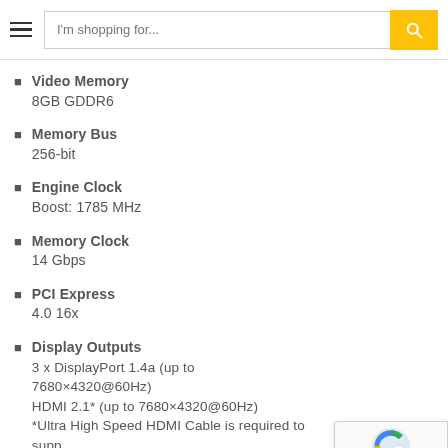I'm shopping for...
Video Memory
8GB GDDR6
Memory Bus
256-bit
Engine Clock
Boost: 1785 MHz
Memory Clock
14 Gbps
PCI Express
4.0 16x
Display Outputs
3 x DisplayPort 1.4a (up to 7680×4320@60Hz)
HDMI 2.1* (up to 7680×4320@60Hz)
*Ultra High Speed HDMI Cable is required to support 8K/60FPS or 4K/120FPS